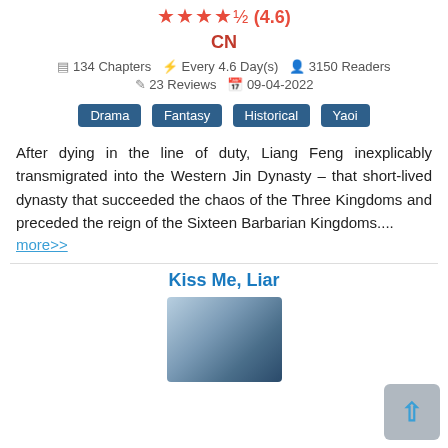★★★★½ (4.6)
CN
134 Chapters   Every 4.6 Day(s)   3150 Readers   23 Reviews   09-04-2022
Drama
Fantasy
Historical
Yaoi
After dying in the line of duty, Liang Feng inexplicably transmigrated into the Western Jin Dynasty – that short-lived dynasty that succeeded the chaos of the Three Kingdoms and preceded the reign of the Sixteen Barbarian Kingdoms.... more>>
Kiss Me, Liar
[Figure (illustration): Manga cover art for 'Kiss Me, Liar' showing two male characters in an embrace with a cityscape background]